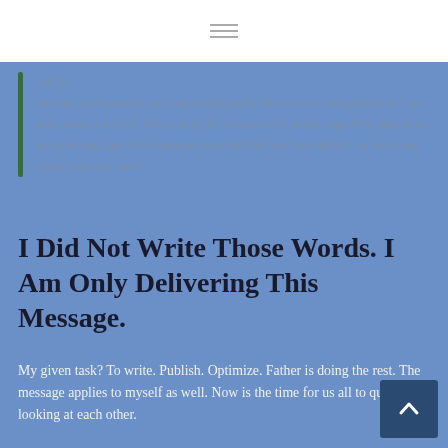14:5)
No one understands [no one intelligently discerns or comprehends]; no one seeks out God. [Psa 14:2] All have turned aside; together they have gone wrong and have become unprofitable and worthless; no one does right, not even one!
I Did Not Write Those Words. I Am Only Delivering This Message.
My given task? To write. Publish. Optimize. Father is doing the rest. The message applies to myself as well. Now is the time for us all to quit looking at each other.